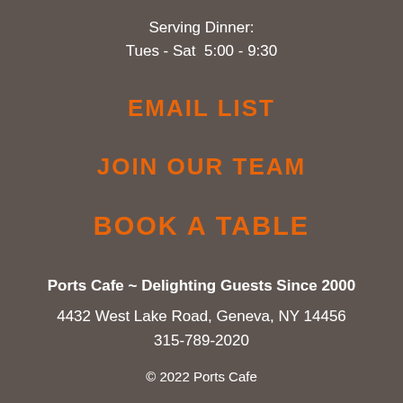Serving Dinner:
Tues - Sat  5:00 - 9:30
EMAIL LIST
JOIN OUR TEAM
BOOK A TABLE
Ports Cafe ~ Delighting Guests Since 2000
4432 West Lake Road, Geneva, NY 14456
315-789-2020
© 2022 Ports Cafe